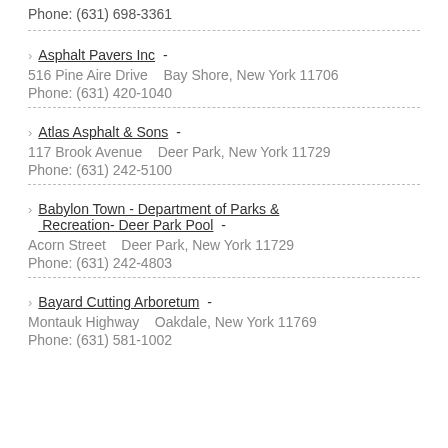Phone: (631) 698-3361
Asphalt Pavers Inc - 516 Pine Aire Drive   Bay Shore, New York 11706 Phone: (631) 420-1040
Atlas Asphalt & Sons - 117 Brook Avenue   Deer Park, New York 11729 Phone: (631) 242-5100
Babylon Town - Department of Parks & Recreation- Deer Park Pool - Acorn Street   Deer Park, New York 11729 Phone: (631) 242-4803
Bayard Cutting Arboretum - Montauk Highway   Oakdale, New York 11769 Phone: (631) 581-1002